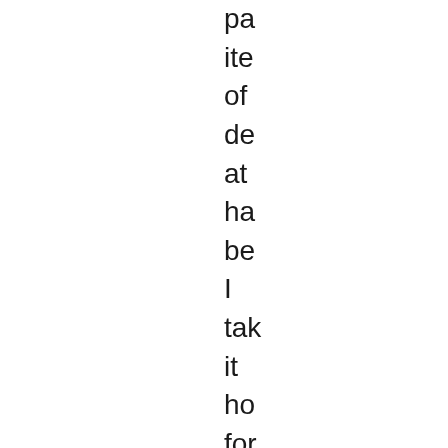pa ite of de at ha be I tak it ho for ke He I kno bu tha wh yo ge wit tim